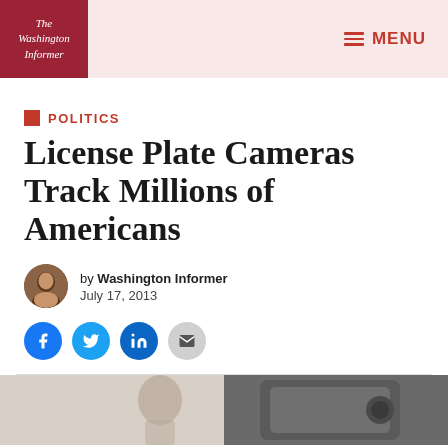The Washington Informer — MENU
POLITICS
License Plate Cameras Track Millions of Americans
by Washington Informer
July 17, 2013
[Figure (illustration): Social sharing buttons: Facebook, Twitter, LinkedIn, Email]
[Figure (photo): Partial photo at bottom of page showing a person and a dark cylindrical camera/device]